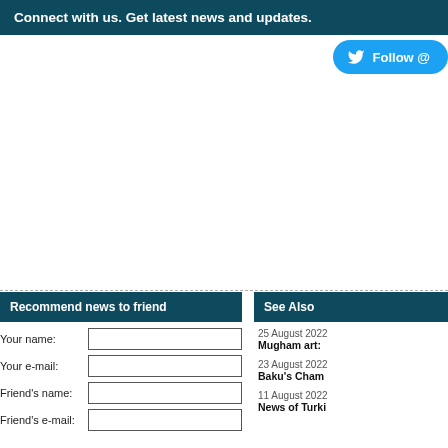Connect with us. Get latest news and updates.
[Figure (other): Twitter Follow button widget partially visible at top right]
Recommend news to friend
Your name:
Your e-mail:
Friend's name:
Friend's e-mail:
See Also
25 August 2022
Mugham art:
23 August 2022
Baku's Cham
11 August 2022
News of Turki